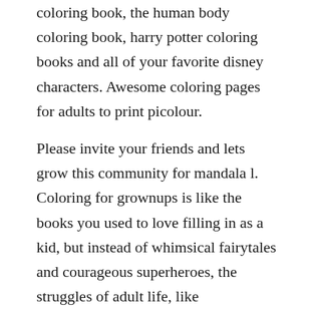coloring book, the human body coloring book, harry potter coloring books and all of your favorite disney characters. Awesome coloring pages for adults to print picolour.
Please invite your friends and lets grow this community for mandala l. Coloring for grownups is like the books you used to love filling in as a kid, but instead of whimsical fairytales and courageous superheroes, the struggles of adult life, like contraception. Also look at our large collection of cartoon coloring pages for preschool, kindergarten and